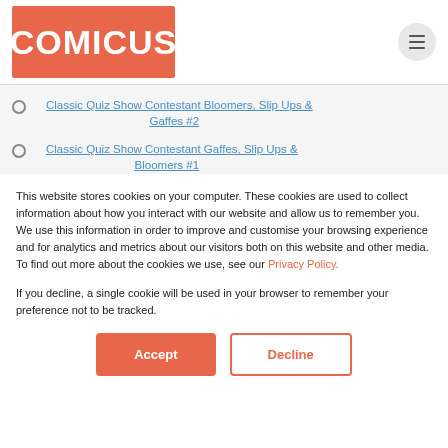[Figure (logo): COMICUS logo — white text on orange/coral rectangular background]
Classic Quiz Show Contestant Bloomers, Slip Ups & Gaffes #2
Classic Quiz Show Contestant Gaffes, Slip Ups & Bloomers #1
This website stores cookies on your computer. These cookies are used to collect information about how you interact with our website and allow us to remember you. We use this information in order to improve and customise your browsing experience and for analytics and metrics about our visitors both on this website and other media. To find out more about the cookies we use, see our Privacy Policy.
If you decline, a single cookie will be used in your browser to remember your preference not to be tracked.